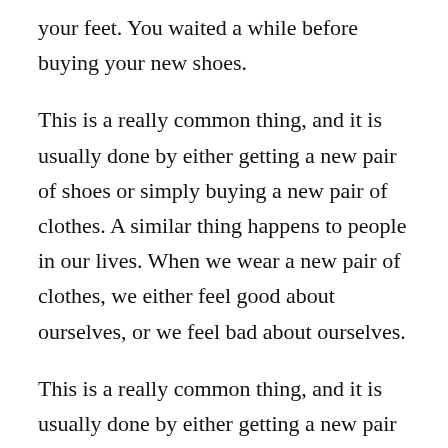your feet. You waited a while before buying your new shoes.
This is a really common thing, and it is usually done by either getting a new pair of shoes or simply buying a new pair of clothes. A similar thing happens to people in our lives. When we wear a new pair of clothes, we either feel good about ourselves, or we feel bad about ourselves.
This is a really common thing, and it is usually done by either getting a new pair of shoes or simply buying a new pair of clothes. A similar thing happens to people in our lives. When we